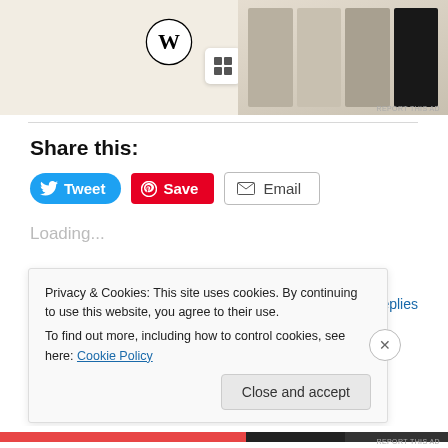[Figure (screenshot): Ad banner with WordPress logo, Squarespace icon, and food/menu images on the right]
Share this:
[Figure (screenshot): Social sharing buttons: Tweet (blue), Save (red Pinterest), Email (outlined)]
Loading...
November 11, 2016
10 Replies
Privacy & Cookies: This site uses cookies. By continuing to use this website, you agree to their use.
To find out more, including how to control cookies, see here: Cookie Policy
Close and accept